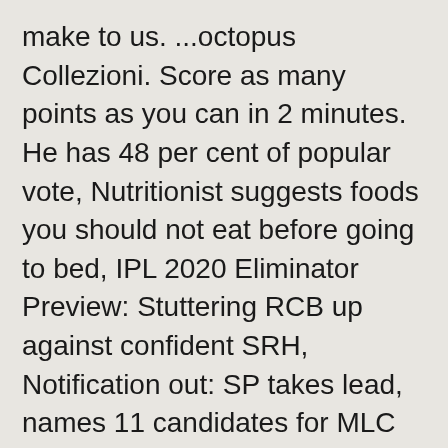make to us. ...octopus Collezioni. Score as many points as you can in 2 minutes. He has 48 per cent of popular vote, Nutritionist suggests foods you should not eat before going to bed, IPL 2020 Eliminator Preview: Stuttering RCB up against confident SRH, Notification out: SP takes lead, names 11 candidates for MLC elections next month, Diwali boost: UP govt to give 30-day salary as bonus to 15 lakh employees in state, Amaravati land deals: SC notice on Andhra plea against HC order, In Seemanchal, Owaisi popular but it remains advantage RJD, Congress, Over past 6 years, fall in Bihar's school learning outcomes, Centre's Delhi alarm: Test contacts in 72 hours, use more RT-PCR tests, PM Modi hardsells India advantage as he invites global investors, Joe Biden inches closer, Trump goes to court crying foul, seeking recount, Campaigning ends, Nitish Kumar signs off: My last election, Ramnath Goenka Excellence in Journalism Awards, Statutory provisions on